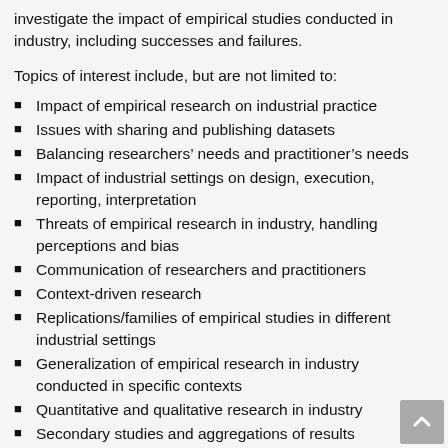investigate the impact of empirical studies conducted in industry, including successes and failures.
Topics of interest include, but are not limited to:
Impact of empirical research on industrial practice
Issues with sharing and publishing datasets
Balancing researchers' needs and practitioner's needs
Impact of industrial settings on design, execution, reporting, interpretation
Threats of empirical research in industry, handling perceptions and bias
Communication of researchers and practitioners
Context-driven research
Replications/families of empirical studies in different industrial settings
Generalization of empirical research in industry conducted in specific contexts
Quantitative and qualitative research in industry
Secondary studies and aggregations of results